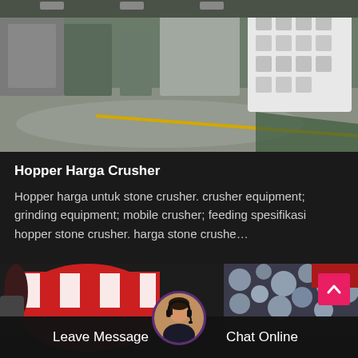[Figure (photo): Interior of an industrial factory floor with large white heavy machinery and equipment, shiny concrete floor with yellow and green markings]
Hopper Harga Crusher
Hopper harga untuk stone crusher. crusher equipment; grinding equipment; mobile crusher; feeding spesifikasi hopper stone crusher. harga stone crushe…
[Figure (photo): Industrial machinery with red and white cylindrical drum/roller equipment in a factory setting]
Leave Message
Chat Online